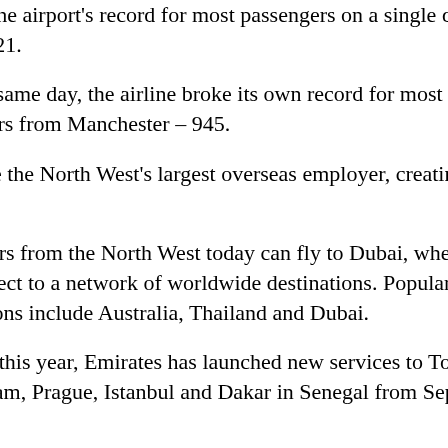- Broke the airport's record for most passengers on a single day on October 21.
- On the same day, the airline broke its own record for most passengers from Manchester – 945.
- Became the North West's largest overseas employer, creating new jobs.
Passengers from the North West today can fly to Dubai, where they can connect to a network of destinations. Popular destinations include Australia, Thailand and Dubai.
So far this year, Emirates has launched new services to Tokyo, Amsterdam, Prague, and Dakar in Senegal from September.
For more information, visit www.emirates.com
Tax exiles At least one international airline has snubbed the UK in favour of France as a result of a 55 per cent rise in air passenger taxes, and more may follow, claim airport executives. Manchester Airport says that after months of discussion with Malaysia's AirAsia X, the low-cost, long-haul airline had decided in favour of Paris, in part because of the air passenger duty. confident that they are going to be able for economy class and £170 for first and